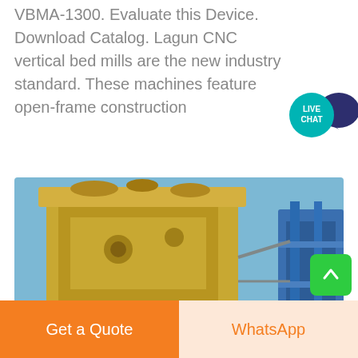VBMA-1300. Evaluate this Device. Download Catalog. Lagun CNC vertical bed mills are the new industry standard. These machines feature open-frame construction
[Figure (photo): Industrial heavy machinery (Carrera 1300 VO) photographed outdoors. Shows a large yellow and grey machine with structural framework, conveyor-type components, and blue machinery in the background. Blue sky visible.]
CARRERA 1300 VO - ITALIAN MACHINES